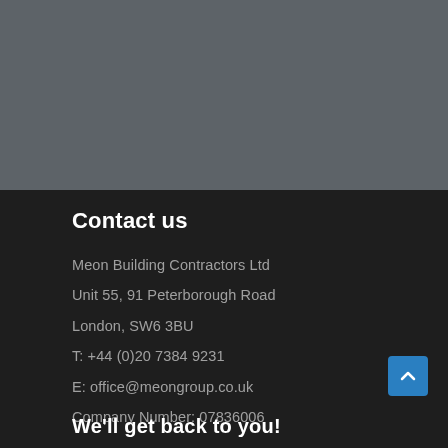[Figure (photo): Gray background section, appears to be an image placeholder or header area]
Contact us
Meon Building Contractors Ltd
Unit 55, 91 Peterborough Road
London, SW6 3BU
T: +44 (0)20 7384 9231
E: office@meongroup.co.uk
Company Number: 07836006
We'll get back to you!